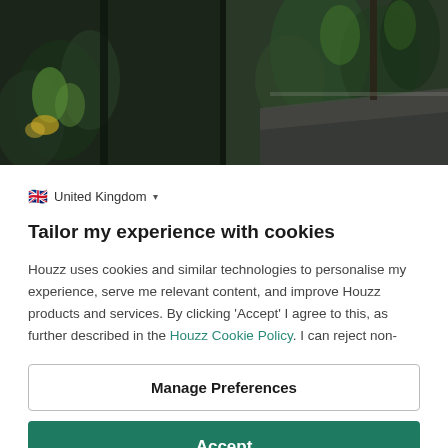[Figure (photo): Lush tropical garden interior scene with dark architectural elements, greenery including palm-like plants and tropical foliage, split into two toned panels — dark left and lighter right showing an outdoor/indoor garden space.]
🇬🇧  United Kingdom ▾
Tailor my experience with cookies
Houzz uses cookies and similar technologies to personalise my experience, serve me relevant content, and improve Houzz products and services. By clicking 'Accept' I agree to this, as further described in the Houzz Cookie Policy. I can reject non-
Manage Preferences
Accept